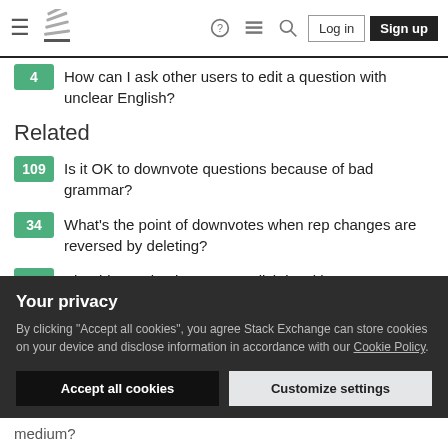Stack Exchange navigation header with hamburger menu, logo, help, chat, search icons, Log in and Sign up buttons
4 — How can I ask other users to edit a question with unclear English?
Related
109 — Is it OK to downvote questions because of bad grammar?
34 — What's the point of downvotes when rep changes are reversed by deleting?
102 — Should we take the OP's English level into account when answering?
60 — Why new users don't read the Help Center and what we can do about it
Your privacy — By clicking "Accept all cookies", you agree Stack Exchange can store cookies on your device and disclose information in accordance with our Cookie Policy. [Accept all cookies] [Customize settings]
medium?